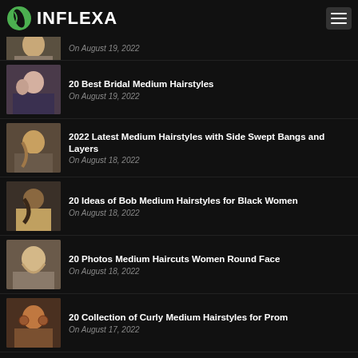INFLEXA
On August 19, 2022
20 Best Bridal Medium Hairstyles
On August 19, 2022
2022 Latest Medium Hairstyles with Side Swept Bangs and Layers
On August 18, 2022
20 Ideas of Bob Medium Hairstyles for Black Women
On August 18, 2022
20 Photos Medium Haircuts Women Round Face
On August 18, 2022
20 Collection of Curly Medium Hairstyles for Prom
On August 17, 2022